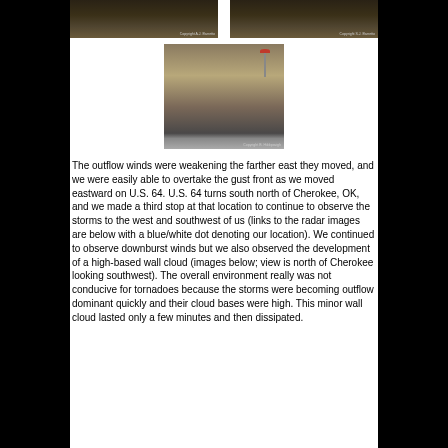[Figure (photo): Two side-by-side dark storm/dust photos with copyright watermarks]
[Figure (photo): A center photo showing dusty/stormy conditions from inside a car with a road sign visible, copyright watermark]
The outflow winds were weakening the farther east they moved, and we were easily able to overtake the gust front as we moved eastward on U.S. 64. U.S. 64 turns south north of Cherokee, OK, and we made a third stop at that location to continue to observe the storms to the west and southwest of us (links to the radar images are below with a blue/white dot denoting our location). We continued to observe downburst winds but we also observed the development of a high-based wall cloud (images below; view is north of Cherokee looking southwest). The overall environment really was not conducive for tornadoes because the storms were becoming outflow dominant quickly and their cloud bases were high. This minor wall cloud lasted only a few minutes and then dissipated.